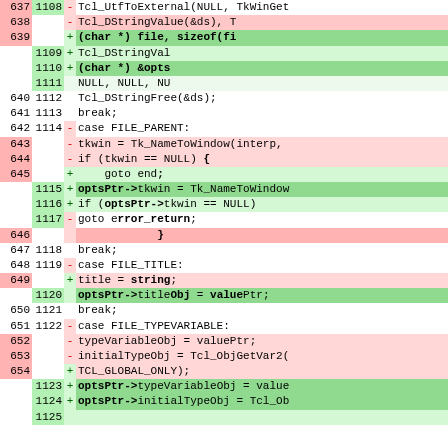[Figure (screenshot): Diff view of source code showing line-by-line additions and deletions for a Tcl/Tk file dialog patch. Old line numbers in left column, new line numbers in second column, +/- sign in third column, code content in fourth column. Lines 637-654 old, 1108-1125 new.]